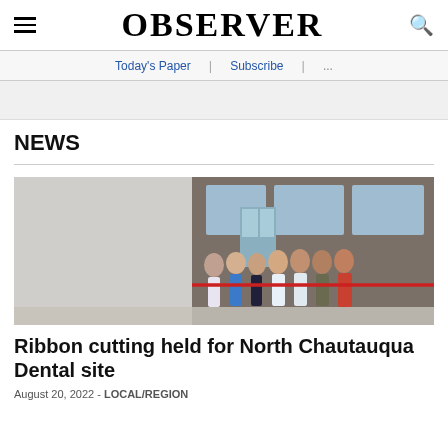OBSERVER
Today's Paper | Subscribe | ...
NEWS
[Figure (photo): Group of people standing in front of a brick building for a ribbon cutting ceremony, a red ribbon stretched across them.]
Ribbon cutting held for North Chautauqua Dental site
August 20, 2022 - LOCAL/REGION